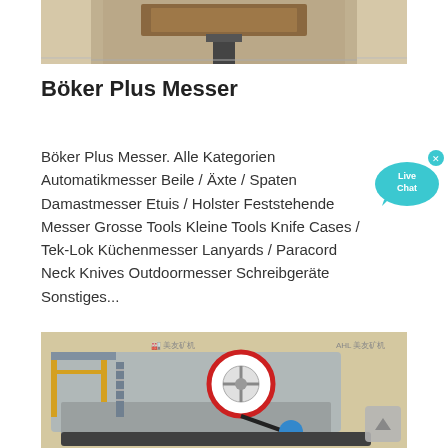[Figure (photo): Top portion of an industrial press or roller machine with concrete/metal channel structure, metal plate being pressed]
Böker Plus Messer
Böker Plus Messer. Alle Kategorien Automatikmesser Beile / Äxte / Spaten Damastmesser Etuis / Holster Feststehende Messer Grosse Tools Kleine Tools Knife Cases / Tek-Lok Küchenmesser Lanyards / Paracord Neck Knives Outdoormesser Schreibgeräte Sonstiges...
[Figure (photo): Industrial jaw crusher machine rendered in 3D, grey and yellow color, with red circular flywheel, blue motor, company logo visible]